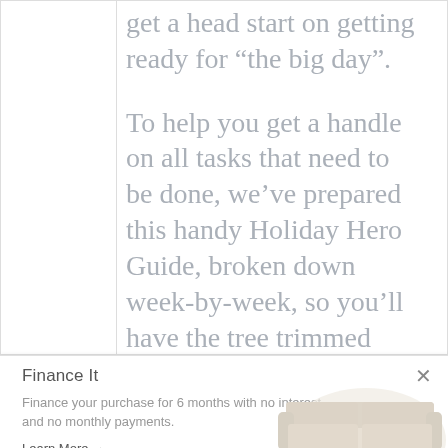get a head start on getting ready for “the big day”.
To help you get a handle on all tasks that need to be done, we’ve prepared this handy Holiday Hero Guide, broken down week-by-week, so you’ll have the tree trimmed and the halls decked—with time to spare.
Finance It
Finance your purchase for 6 months with no interest and no monthly payments.
Learn More →
[Figure (photo): A light beige/cream colored sofa with wooden legs on a light circular background]